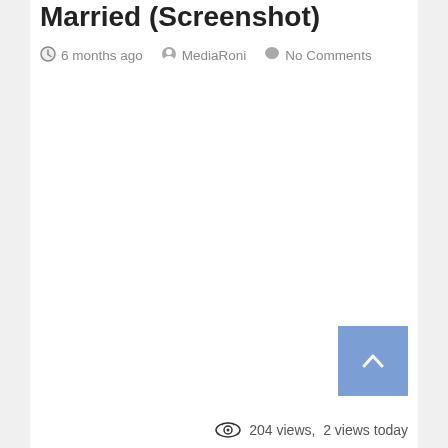Married (Screenshot)
6 months ago   MediaRoni   No Comments
[Figure (screenshot): Empty white content area of a web page post]
204 views,  2 views today